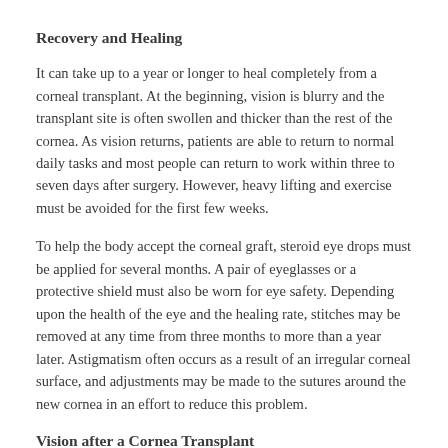Recovery and Healing
It can take up to a year or longer to heal completely from a corneal transplant. At the beginning, vision is blurry and the transplant site is often swollen and thicker than the rest of the cornea. As vision returns, patients are able to return to normal daily tasks and most people can return to work within three to seven days after surgery. However, heavy lifting and exercise must be avoided for the first few weeks.
To help the body accept the corneal graft, steroid eye drops must be applied for several months. A pair of eyeglasses or a protective shield must also be worn for eye safety. Depending upon the health of the eye and the healing rate, stitches may be removed at any time from three months to more than a year later. Astigmatism often occurs as a result of an irregular corneal surface, and adjustments may be made to the sutures around the new cornea in an effort to reduce this problem.
Vision after a Cornea Transplant
Vision improvement after a cornea transplant is a process that can last